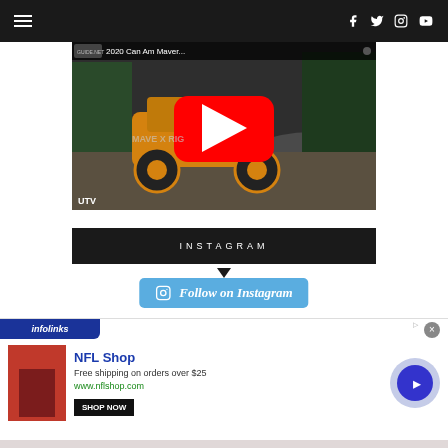Navigation bar with hamburger menu and social icons (Facebook, Twitter, Instagram, YouTube)
[Figure (screenshot): YouTube video thumbnail showing a Can-Am Maverick off-road vehicle (orange UTV) on rocky terrain. YouTube play button overlay visible. Title bar reads '2020 Can Am Maver...' with GUIDE.NET logo. UTV label in bottom left.]
INSTAGRAM
[Figure (screenshot): Follow on Instagram button with Instagram icon, sky-blue rounded rectangle background]
[Figure (screenshot): Infolinks advertisement banner for NFL Shop. Shows NFL Shop brand, text 'Free shipping on orders over $25', URL www.nflshop.com, SHOP NOW button, red merchandise image, and circular blue arrow navigation button. Infolinks label and close X button visible.]